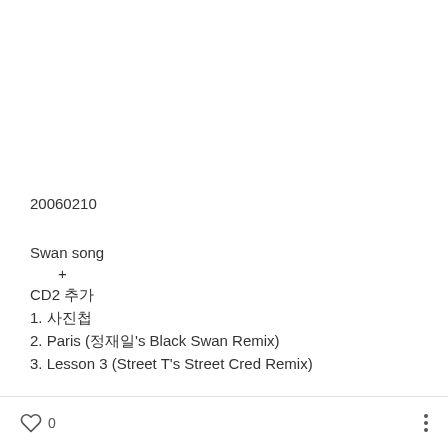20060210
Swan song
+
CD2 추가
1. 사진첩
2. Paris (정재일's Black Swan Remix)
3. Lesson 3 (Street T's Street Cred Remix)
0